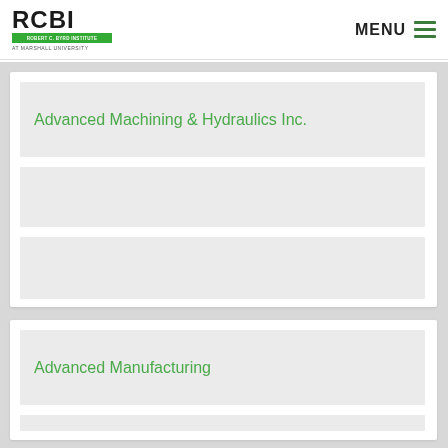RCBI — Robert C. Byrd Institute at Marshall University | MENU
Advanced Machining & Hydraulics Inc.
Advanced Manufacturing